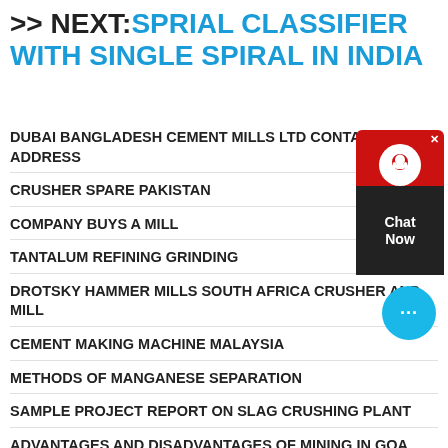>> NEXT:SPRIAL CLASSIFIER WITH SINGLE SPIRAL IN INDIA
DUBAI BANGLADESH CEMENT MILLS LTD CONTACT ADDRESS
CRUSHER SPARE PAKISTAN
COMPANY BUYS A MILL
TANTALUM REFINING GRINDING
DROTSKY HAMMER MILLS SOUTH AFRICA CRUSHER AND MILL
CEMENT MAKING MACHINE MALAYSIA
METHODS OF MANGANESE SEPARATION
SAMPLE PROJECT REPORT ON SLAG CRUSHING PLANT
ADVANTAGES AND DISADVANTAGES OF MINING IN GOA
NEWS
[Figure (other): Chat support widget with red background, headset icon, and 'Chat Now' text on dark bottom panel]
[Figure (other): Blue circular chat bubble button with three dots]